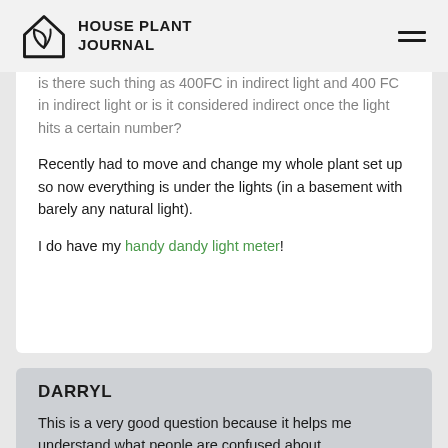HOUSE PLANT JOURNAL
is there such thing as 400FC in indirect light and 400 FC in indirect light or is it considered indirect once the light hits a certain number?
Recently had to move and change my whole plant set up so now everything is under the lights (in a basement with barely any natural light).
I do have my handy dandy light meter!
DARRYL
This is a very good question because it helps me understand what people are confused about